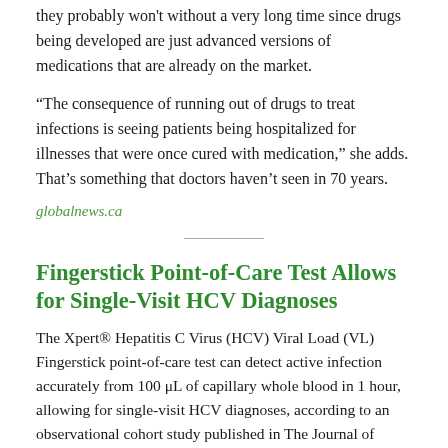they probably won't without a very long time since drugs being developed are just advanced versions of medications that are already on the market.
“The consequence of running out of drugs to treat infections is seeing patients being hospitalized for illnesses that were once cured with medication,” she adds. That’s something that doctors haven’t seen in 70 years.
globalnews.ca
Fingerstick Point-of-Care Test Allows for Single-Visit HCV Diagnoses
The Xpert® Hepatitis C Virus (HCV) Viral Load (VL) Fingerstick point-of-care test can detect active infection accurately from 100 μL of capillary whole blood in 1 hour, allowing for single-visit HCV diagnoses, according to an observational cohort study published in The Journal of Infectious Diseases.